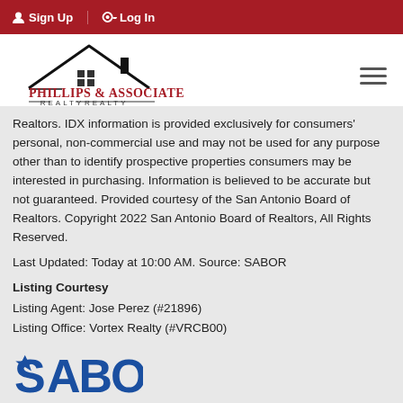Sign Up  Log In
[Figure (logo): Phillips & Associates Realty logo with house roofline graphic and text]
Realtors. IDX information is provided exclusively for consumers' personal, non-commercial use and may not be used for any purpose other than to identify prospective properties consumers may be interested in purchasing. Information is believed to be accurate but not guaranteed. Provided courtesy of the San Antonio Board of Realtors. Copyright 2022 San Antonio Board of Realtors, All Rights Reserved.
Last Updated: Today at 10:00 AM. Source: SABOR
Listing Courtesy
Listing Agent: Jose Perez (#21896)
Listing Office: Vortex Realty (#VRCB00)
[Figure (logo): SABOR logo in blue]